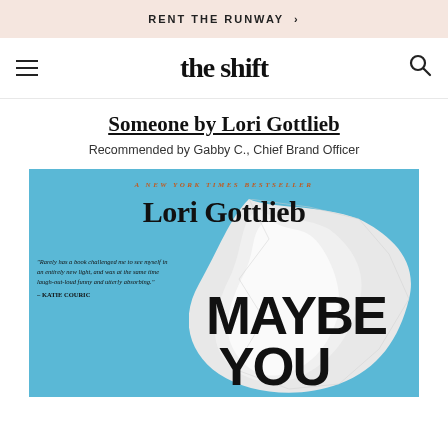RENT THE RUNWAY ›
the shift
Someone by Lori Gottlieb
Recommended by Gabby C., Chief Brand Officer
[Figure (photo): Book cover of 'Maybe You Should Talk to Someone' by Lori Gottlieb. Light blue background with large white crumpled paper/tissue shape. Text reads: A NEW YORK TIMES BESTSELLER at top in orange italic; Lori Gottlieb in large dark serif font; quote from Katie Couric; MAYBE YOU in large bold black sans-serif at bottom.]